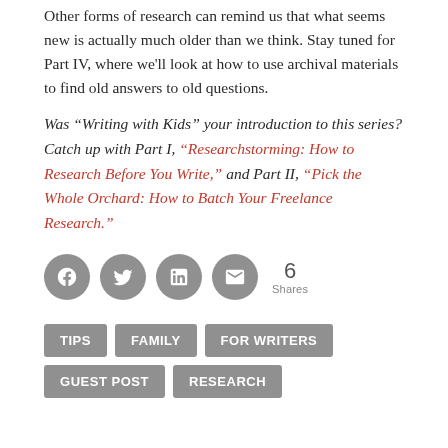Other forms of research can remind us that what seems new is actually much older than we think. Stay tuned for Part IV, where we'll look at how to use archival materials to find old answers to old questions.
Was “Writing with Kids” your introduction to this series? Catch up with Part I, “Researchstorming: How to Research Before You Write,” and Part II, “Pick the Whole Orchard: How to Batch Your Freelance Research.”
[Figure (infographic): Social share icons: Facebook, Twitter, LinkedIn, Email. Share count: 6 Shares.]
TIPS
FAMILY
FOR WRITERS
GUEST POST
RESEARCH